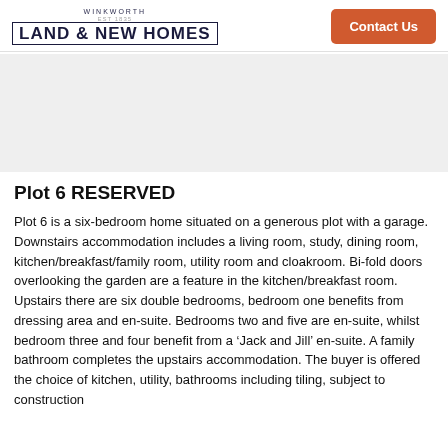WINKWORTH LAND & NEW HOMES — Contact Us
[Figure (photo): Gray placeholder image area for property photo]
Plot 6 RESERVED
Plot 6 is a six-bedroom home situated on a generous plot with a garage. Downstairs accommodation includes a living room, study, dining room, kitchen/breakfast/family room, utility room and cloakroom. Bi-fold doors overlooking the garden are a feature in the kitchen/breakfast room. Upstairs there are six double bedrooms, bedroom one benefits from dressing area and en-suite. Bedrooms two and five are en-suite, whilst bedroom three and four benefit from a 'Jack and Jill' en-suite. A family bathroom completes the upstairs accommodation. The buyer is offered the choice of kitchen, utility, bathrooms including tiling, subject to construction